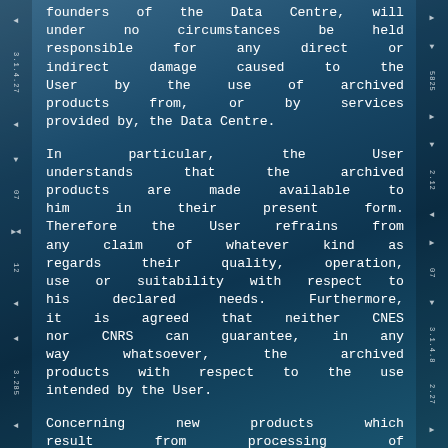founders of the Data Centre, will under no circumstances be held responsible for any direct or indirect damage caused to the User by the use of archived products from, or by services provided by, the Data Centre.
In particular, the User understands that the archived products are made available to him in their present form. Therefore the User refrains from any claim of whatever kind as regards their quality, operation, use or suitability with respect to his declared needs. Furthermore, it is agreed that neither CNES nor CNRS can guarantee, in any way whatsoever, the archived products with respect to the use intended by the User.
Concerning new products which result from processing of archived products by the User, and which are likely to be communicated to third parties,